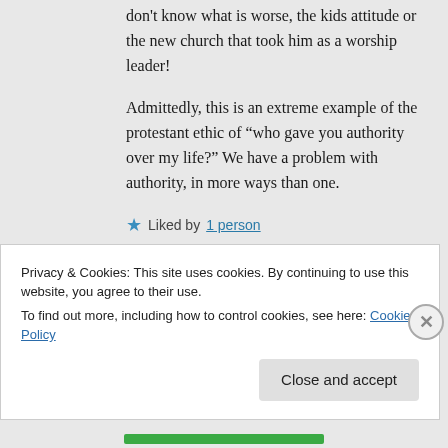don't know what is worse, the kids attitude or the new church that took him as a worship leader!
Admittedly, this is an extreme example of the protestant ethic of “who gave you authority over my life?” We have a problem with authority, in more ways than one.
★ Liked by 1 person
Privacy & Cookies: This site uses cookies. By continuing to use this website, you agree to their use.
To find out more, including how to control cookies, see here: Cookie Policy